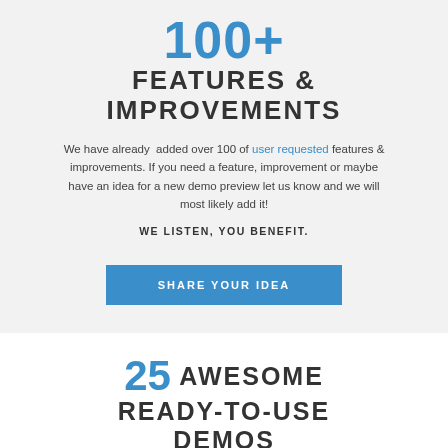100+ FEATURES & IMPROVEMENTS
We have already added over 100 of user requested features & improvements. If you need a feature, improvement or maybe have an idea for a new demo preview let us know and we will most likely add it!
WE LISTEN, YOU BENEFIT.
SHARE YOUR IDEA
25 AWESOME READY-TO-USE DEMOS
[Figure (screenshot): Two side-by-side website demo screenshots: left shows a light-themed blog with a woman portrait photo and header navigation; right shows a dark-themed site with a centered logo/icon and navigation bar.]